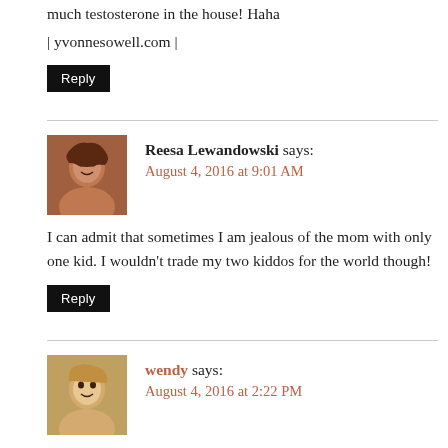much testosterone in the house! Haha
| yvonnesowell.com |
Reply
Reesa Lewandowski says: August 4, 2016 at 9:01 AM
I can admit that sometimes I am jealous of the mom with only one kid. I wouldn't trade my two kiddos for the world though!
Reply
wendy says: August 4, 2016 at 2:22 PM
I can so relate. I felt that way at times when my boys